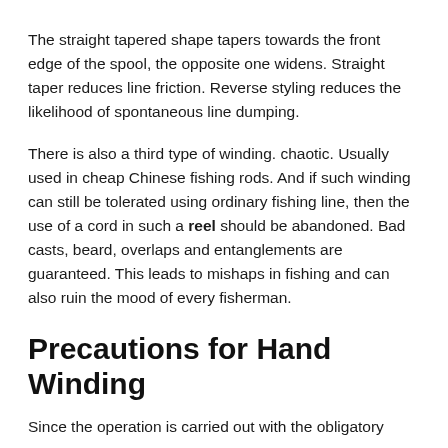The straight tapered shape tapers towards the front edge of the spool, the opposite one widens. Straight taper reduces line friction. Reverse styling reduces the likelihood of spontaneous line dumping.
There is also a third type of winding. chaotic. Usually used in cheap Chinese fishing rods. And if such winding can still be tolerated using ordinary fishing line, then the use of a cord in such a reel should be abandoned. Bad casts, beard, overlaps and entanglements are guaranteed. This leads to mishaps in fishing and can also ruin the mood of every fisherman.
Precautions for Hand Winding
Since the operation is carried out with the obligatory